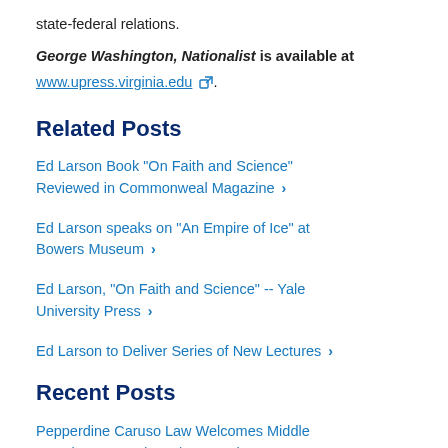state-federal relations.
George Washington, Nationalist is available at www.upress.virginia.edu.
Related Posts
Ed Larson Book "On Faith and Science" Reviewed in Commonweal Magazine ›
Ed Larson speaks on "An Empire of Ice" at Bowers Museum ›
Ed Larson, "On Faith and Science" -- Yale University Press ›
Ed Larson to Deliver Series of New Lectures ›
Recent Posts
Pepperdine Caruso Law Welcomes Middle Temple Law Students | September 8 ›